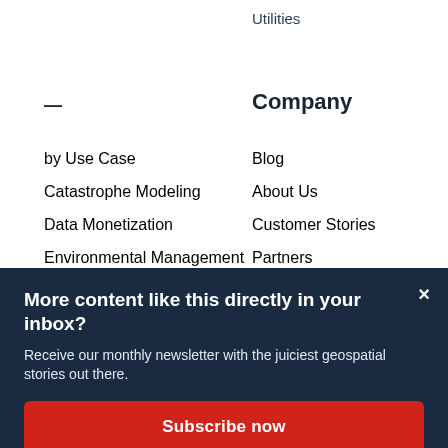Utilities
—
Company
by Use Case
Catastrophe Modeling
Data Monetization
Environmental Management
Blog
About Us
Customer Stories
Partners
More content like this directly in your inbox?
Receive our monthly newsletter with the juiciest geospatial stories out there.
Subscribe now